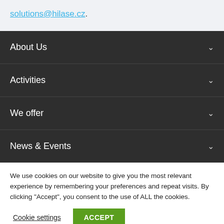solutions@hilase.cz.
About Us
Activities
We offer
News & Events
We use cookies on our website to give you the most relevant experience by remembering your preferences and repeat visits. By clicking "Accept", you consent to the use of ALL the cookies.
Cookie settings
ACCEPT